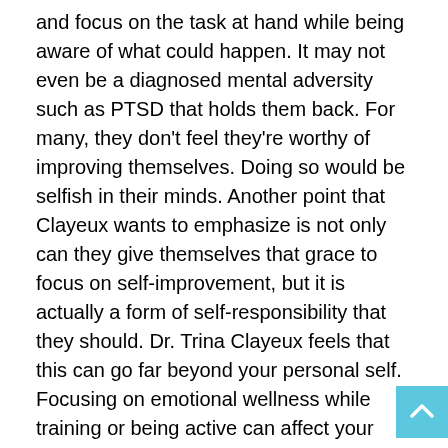and focus on the task at hand while being aware of what could happen. It may not even be a diagnosed mental adversity such as PTSD that holds them back. For many, they don't feel they're worthy of improving themselves. Doing so would be selfish in their minds. Another point that Clayeux wants to emphasize is not only can they give themselves that grace to focus on self-improvement, but it is actually a form of self-responsibility that they should. Dr. Trina Clayeux feels that this can go far beyond your personal self. Focusing on emotional wellness while training or being active can affect your immediate community.
“That physical activity and emotional connection can improve not just your wellness, but it will affect those around you as well. When I'm having a really stressful day, the kindest thing I can do for myself is go on a run or go into the gym. I notice how much better I perform when I come back. You have to put the effort into the above conversation."